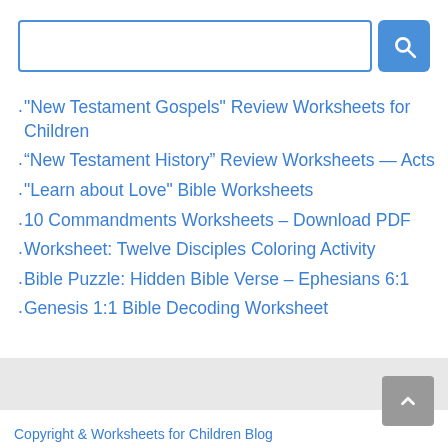[Figure (screenshot): Search bar with blue border and blue search button with magnifying glass icon]
"New Testament Gospels" Review Worksheets for Children
“New Testament History” Review Worksheets — Acts
"Learn about Love" Bible Worksheets
10 Commandments Worksheets – Download PDF
Worksheet: Twelve Disciples Coloring Activity
Bible Puzzle: Hidden Bible Verse – Ephesians 6:1
Genesis 1:1 Bible Decoding Worksheet
Copyright & Worksheets for Children Blog